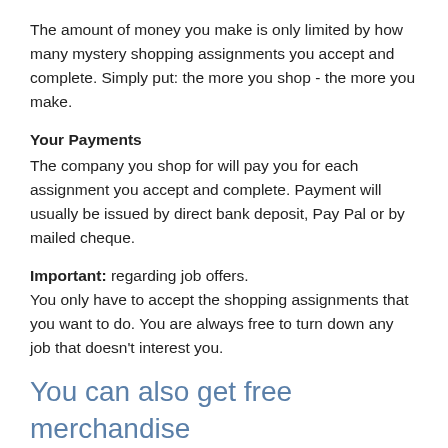The amount of money you make is only limited by how many mystery shopping assignments you accept and complete. Simply put: the more you shop - the more you make.
Your Payments
The company you shop for will pay you for each assignment you accept and complete. Payment will usually be issued by direct bank deposit, Pay Pal or by mailed cheque.
Important: regarding job offers. You only have to accept the shopping assignments that you want to do. You are always free to turn down any job that doesn't interest you.
You can also get free merchandise